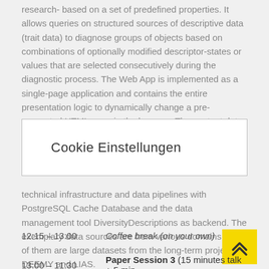research- based on a set of predefined properties. It allows queries on structured sources of descriptive data (trait data) to diagnose groups of objects based on combinations of optionally modified descriptor-states or values that are selected consecutively during the diagnostic process. The Web App is implemented as a single-page application and contains the entire presentation logic to dynamically change a pre-generated HTML page in the browser. The content data is accessed via a web service as JSON packages. DiversityNaviKey is a progressive web application that uses caching mechanisms of browsers,
Cookie Einstellungen
technical infrastructure and data pipelines with PostgreSQL Cache Database and the data management tool DiversityDescriptions as backend. The exemplary data sources are from various domains, two of them are large datasets from the long-term projects DEEMY and LIAS.
12:15 – 13:00    Coffee break (on your own)
13:00 – 11:30    Paper Session 3 (15 minutes talk + 5 min